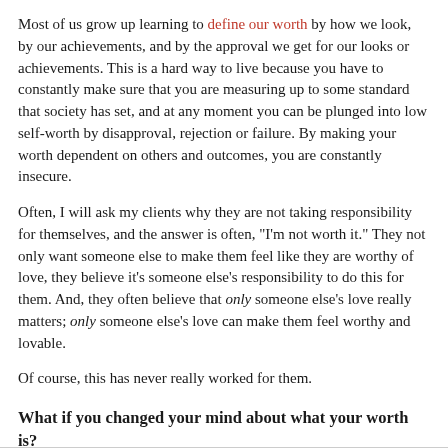Most of us grow up learning to define our worth by how we look, by our achievements, and by the approval we get for our looks or achievements. This is a hard way to live because you have to constantly make sure that you are measuring up to some standard that society has set, and at any moment you can be plunged into low self-worth by disapproval, rejection or failure. By making your worth dependent on others and outcomes, you are constantly insecure.
Often, I will ask my clients why they are not taking responsibility for themselves, and the answer is often, "I'm not worth it." They not only want someone else to make them feel like they are worthy of love, they believe it's someone else's responsibility to do this for them. And, they often believe that only someone else's love really matters; only someone else's love can make them feel worthy and lovable.
Of course, this has never really worked for them.
What if you changed your mind about what your worth is?